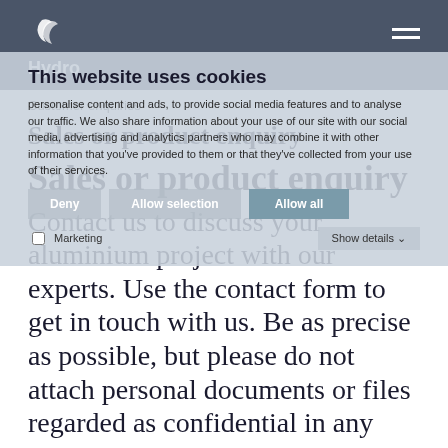Hydro
[Figure (logo): Hydro logo with stylized D icon and word Hydro in white on dark background]
This website uses cookies
personalise content and ads, to provide social media features and to analyse our traffic. We also share information about your use of our site with our social media, advertising and analytics partners who may combine it with other information that you've provided to them or that they've collected from your use of their services.
Customer enquiries
Sales or product enquiry
Contact us to discuss your aluminium project with our experts. Use the contact form to get in touch with us. Be as precise as possible, but please do not attach personal documents or files regarded as confidential in any way